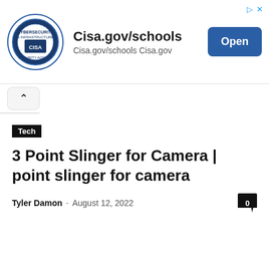[Figure (screenshot): CISA advertisement banner with logo, 'Cisa.gov/schools' text and Open button]
3 Point Slinger for Camera | point slinger for camera
Tyler Damon – August 12, 2022